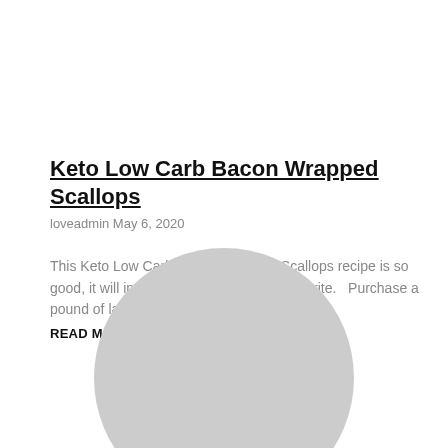Keto Low Carb Bacon Wrapped Scallops
loveadmin May 6, 2020
This Keto Low Carb Bacon Wrapped Scallops recipe is so good, it will instantly become a dinner favorite.   Purchase a pound of large sea
READ MORE »
[Figure (illustration): Partial circle/ellipse shape in light gray at the bottom of the page, representing a decorative image placeholder]